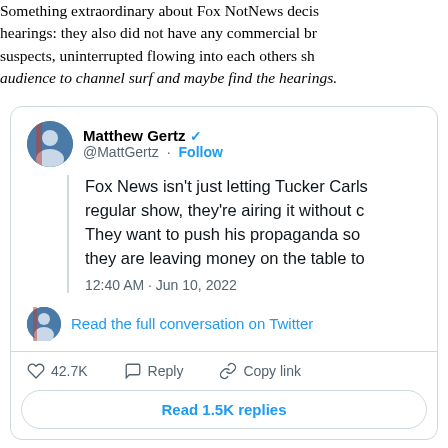Something extraordinary about Fox NotNews decision not to air the hearings: they also did not have any commercial breaks between suspects, uninterrupted flowing into each others shows, allowing the audience to channel surf and maybe find the hearings.
[Figure (screenshot): Embedded tweet from Matthew Gertz (@MattGertz) dated 12:40 AM Jun 10, 2022. Tweet text: Fox News isn't just letting Tucker Carlson run his regular show, they're airing it without commercials. They want to push his propaganda so badly that they are leaving money on the table to do it. Shows 42.7K likes, Reply, Copy link actions, and a 'Read 1.5K replies' button.]